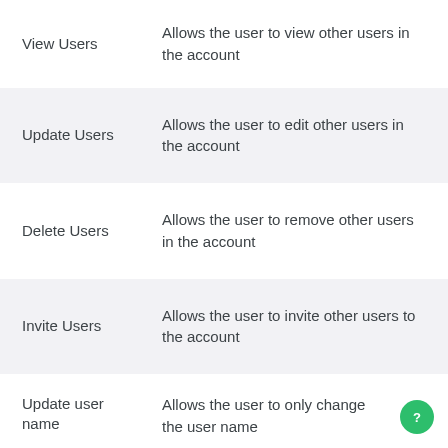| Permission | Description |
| --- | --- |
| View Users | Allows the user to view other users in the account |
| Update Users | Allows the user to edit other users in the account |
| Delete Users | Allows the user to remove other users in the account |
| Invite Users | Allows the user to invite other users to the account |
| Update user name | Allows the user to only change the user name |